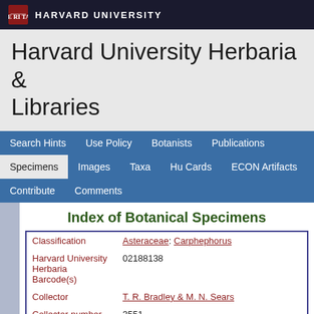HARVARD UNIVERSITY
Harvard University Herbaria & Libraries
Search Hints | Use Policy | Botanists | Publications | Specimens | Images | Taxa | Hu Cards | ECON Artifacts | Contribute | Comments
Index of Botanical Specimens
| Field | Value |
| --- | --- |
| Classification | Asteraceae: Carphephorus |
| Harvard University Herbaria Barcode(s) | 02188138 |
| Collector | T. R. Bradley & M. N. Sears |
| Collector number | 3551 |
| Country | United States of America |
| State | South Carolina |